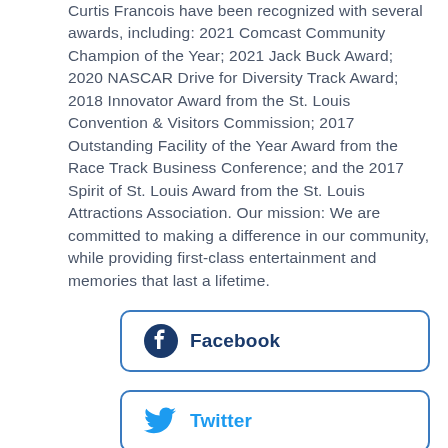Curtis Francois have been recognized with several awards, including: 2021 Comcast Community Champion of the Year; 2021 Jack Buck Award; 2020 NASCAR Drive for Diversity Track Award; 2018 Innovator Award from the St. Louis Convention & Visitors Commission; 2017 Outstanding Facility of the Year Award from the Race Track Business Conference; and the 2017 Spirit of St. Louis Award from the St. Louis Attractions Association. Our mission: We are committed to making a difference in our community, while providing first-class entertainment and memories that last a lifetime.
[Figure (other): Facebook social share button with Facebook logo icon and bold text 'Facebook']
[Figure (other): Twitter social share button with Twitter bird logo icon and bold text 'Twitter']